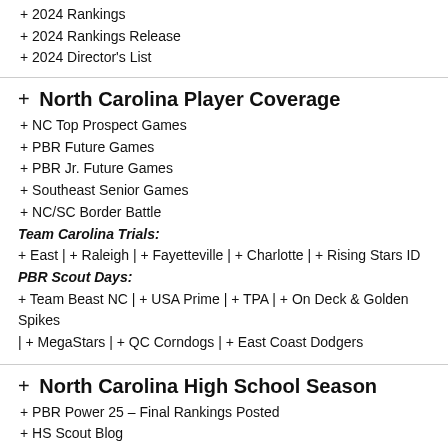+ 2024 Rankings
+ 2024 Rankings Release
+ 2024 Director's List
+ North Carolina Player Coverage
+ NC Top Prospect Games
+ PBR Future Games
+ PBR Jr. Future Games
+ Southeast Senior Games
+ NC/SC Border Battle
Team Carolina Trials:
+ East | + Raleigh | + Fayetteville | + Charlotte | + Rising Stars ID
PBR Scout Days:
+ Team Beast NC | + USA Prime | + TPA | + On Deck & Golden Spikes | + MegaStars | + QC Corndogs | + East Coast Dodgers
+ North Carolina High School Season
+ PBR Power 25 – Final Rankings Posted
+ HS Scout Blog
+ Heat Sheet
+ CLASS RANKINGS
OVERALL: 2022 | 2023 | 2024 | 2025
NC: 2022 | 2023 | 2024 | 2025
+ THE BEST OF 2021